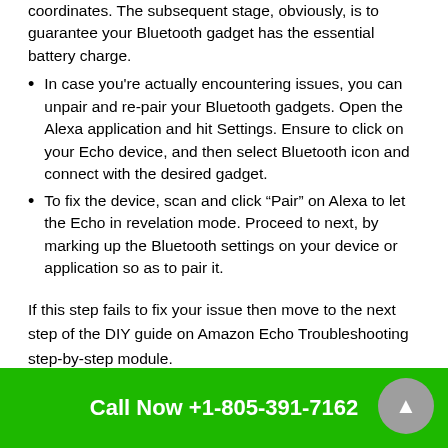coordinates. The subsequent stage, obviously, is to guarantee your Bluetooth gadget has the essential battery charge.
In case you’re actually encountering issues, you can unpair and re-pair your Bluetooth gadgets. Open the Alexa application and hit Settings. Ensure to click on your Echo device, and then select Bluetooth icon and connect with the desired gadget.
To fix the device, scan and click “Pair” on Alexa to let the Echo in revelation mode. Proceed to next, by marking up the Bluetooth settings on your device or application so as to pair it.
If this step fails to fix your issue then move to the next step of the DIY guide on Amazon Echo Troubleshooting step-by-step module.
Call Now +1-805-391-7162